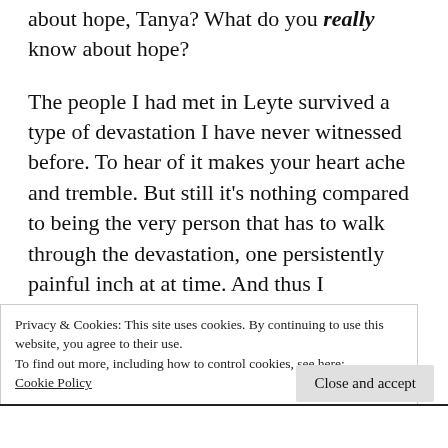about hope, Tanya? What do you really know about hope?
The people I had met in Leyte survived a type of devastation I have never witnessed before. To hear of it makes your heart ache and tremble. But still it’s nothing compared to being the very person that has to walk through the devastation, one persistently painful inch at at time. And thus I questioned, what did I even
Privacy & Cookies: This site uses cookies. By continuing to use this website, you agree to their use.
To find out more, including how to control cookies, see here: Cookie Policy
Close and accept